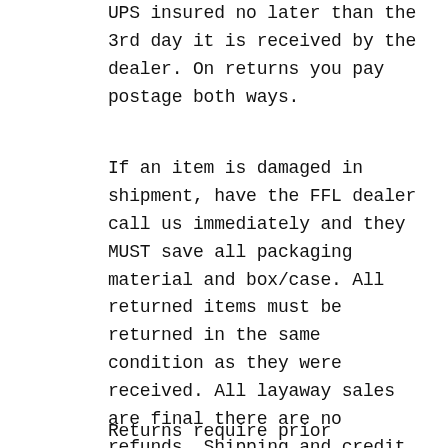UPS insured no later than the 3rd day it is received by the dealer. On returns you pay postage both ways.
If an item is damaged in shipment, have the FFL dealer call us immediately and they MUST save all packaging material and box/case. All returned items must be returned in the same condition as they were received. All layaway sales are final there are no refunds. Shipping and credit card fees are non refundable and there is a 10% restocking charge.
Returns require prior authorization.